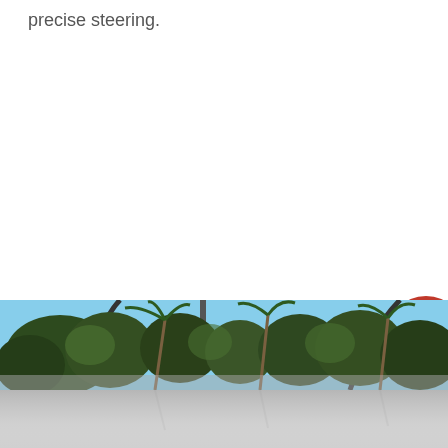precise steering.
[Figure (photo): Outdoor scene with palm trees and other vegetation against a blue sky, with a reflective tiled surface in the foreground bottom portion.]
[Figure (other): Red circular navigation button with a white right-facing chevron arrow, partially visible at the right edge of the page.]